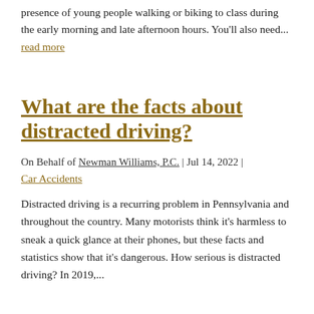presence of young people walking or biking to class during the early morning and late afternoon hours. You'll also need...
read more
What are the facts about distracted driving?
On Behalf of Newman Williams, P.C. | Jul 14, 2022 |
Car Accidents
Distracted driving is a recurring problem in Pennsylvania and throughout the country. Many motorists think it's harmless to sneak a quick glance at their phones, but these facts and statistics show that it's dangerous. How serious is distracted driving? In 2019,...